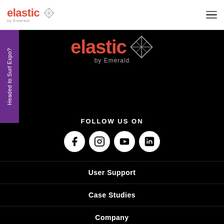elastic by Emerald
[Figure (logo): Elastic by Emerald logo centered on black background with diamond geometric icon]
FOLLOW US ON
[Figure (infographic): Social media icons: Facebook, Instagram, YouTube, LinkedIn in white circles]
User Support
Case Studies
Company